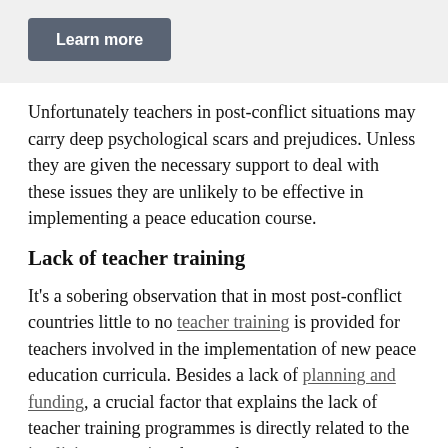[Figure (other): Learn more button in a grey banner at the top of the page]
Unfortunately teachers in post-conflict situations may carry deep psychological scars and prejudices. Unless they are given the necessary support to deal with these issues they are unlikely to be effective in implementing a peace education course.
Lack of teacher training
It’s a sobering observation that in most post-conflict countries little to no teacher training is provided for teachers involved in the implementation of new peace education curricula. Besides a lack of planning and funding, a crucial factor that explains the lack of teacher training programmes is directly related to the implicit assumption that teachers are